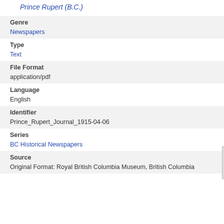Prince Rupert (B.C.)
Genre
Newspapers
Type
Text
File Format
application/pdf
Language
English
Identifier
Prince_Rupert_Journal_1915-04-06
Series
BC Historical Newspapers
Source
Original Format: Royal British Columbia Museum, British Columbia